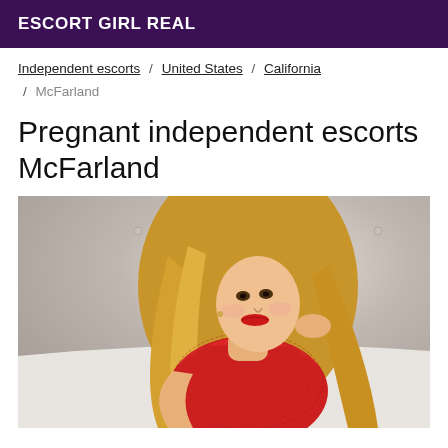ESCORT GIRL REAL
Independent escorts / United States / California / McFarland
Pregnant independent escorts McFarland
[Figure (photo): A blonde woman in a red lace top posing on a white tufted couch or bed, with long blonde hair and red lipstick, photographed from above at an angle.]